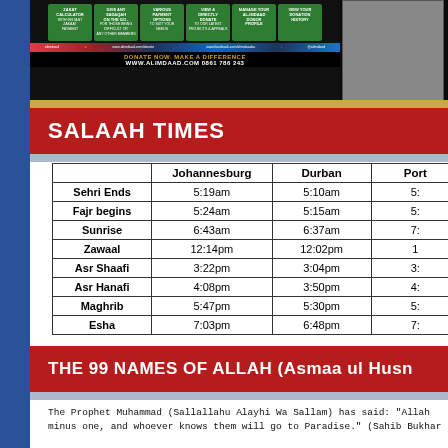[Figure (screenshot): Alimdaad app promotional banner with green app feature buttons and donate now footer with website and phone number]
SALAAH TIMES
|  | Johannesburg | Durban | Port... |
| --- | --- | --- | --- |
| Sehri Ends | 5:19am | 5:10am | 5:... |
| Fajr begins | 5:24am | 5:15am | 5:... |
| Sunrise | 6:43am | 6:37am | 7:... |
| Zawaal | 12:14pm | 12:02pm | 1... |
| Asr Shaafi | 3:22pm | 3:04pm | 3:... |
| Asr Hanafi | 4:08pm | 3:50pm | 4:... |
| Maghrib | 5:47pm | 5:30pm | 5:... |
| Esha | 7:03pm | 6:48pm | 7:... |
THE 99 NAMES OF ALLAH (Asmaa ul Husn...)
The Prophet Muhammad (Sallallahu Alayhi Wa Sallam) has said: "Allah ... minus one, and whoever knows them will go to Paradise." (Sahih Bukhar...